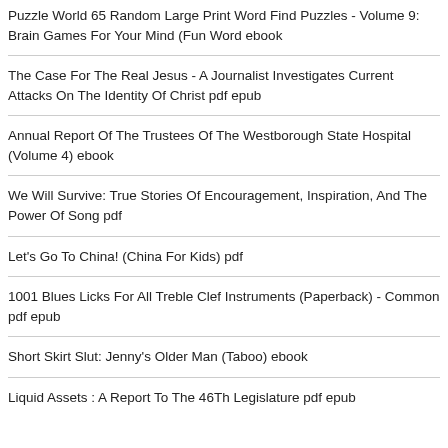Puzzle World 65 Random Large Print Word Find Puzzles - Volume 9: Brain Games For Your Mind (Fun Word ebook
The Case For The Real Jesus - A Journalist Investigates Current Attacks On The Identity Of Christ pdf epub
Annual Report Of The Trustees Of The Westborough State Hospital (Volume 4) ebook
We Will Survive: True Stories Of Encouragement, Inspiration, And The Power Of Song pdf
Let's Go To China! (China For Kids) pdf
1001 Blues Licks For All Treble Clef Instruments (Paperback) - Common pdf epub
Short Skirt Slut: Jenny's Older Man (Taboo) ebook
Liquid Assets : A Report To The 46Th Legislature pdf epub